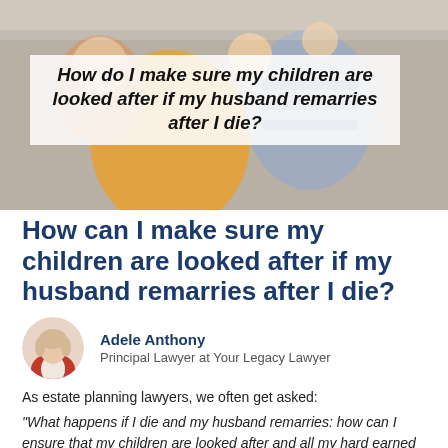[Figure (photo): Photo of a woman with children in background, with a white semi-transparent overlay box containing the article title in bold italic text.]
How can I make sure my children are looked after if my husband remarries after I die?
Adele Anthony
Principal Lawyer at Your Legacy Lawyer
As estate planning lawyers, we often get asked:
“What happens if I die and my husband remarries: how can I ensure that my children are looked after and all my hard earned assets don’t go to my